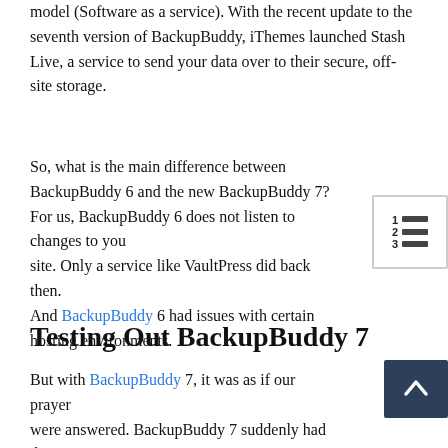model (Software as a service). With the recent update to the seventh version of BackupBuddy, iThemes launched Stash Live, a service to send your data over to their secure, off-site storage.
So, what is the main difference between BackupBuddy 6 and the new BackupBuddy 7? For us, BackupBuddy 6 does not listen to changes to your site. Only a service like VaultPress did back then. And BackupBuddy 6 had issues with certain hosting environments.
Testing Out BackupBuddy 7
But with BackupBuddy 7, it was as if our prayers were answered. BackupBuddy 7 suddenly had the ability to track changes to your site and push them